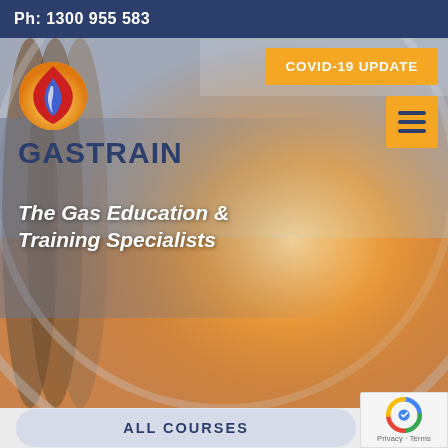Ph: 1300 955 583
[Figure (screenshot): Gastrain website hero image with gas turbine/industrial background in orange and grey tones, showing the Gastrain logo (flame icon + GASTRAIN text), tagline 'The Gas Education & Training Specialists', COVID-19 UPDATE button in orange, hamburger menu button in orange, and ALL COURSES button at bottom.]
GASTRAIN
The Gas Education & Training Specialists
COVID-19 UPDATE
ALL COURSES